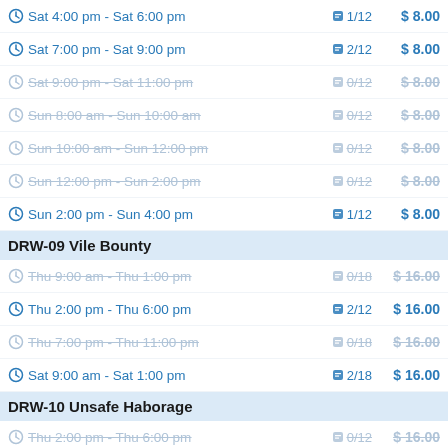Sat 4:00 pm - Sat 6:00 pm  1/12  $8.00
Sat 7:00 pm - Sat 9:00 pm  2/12  $8.00
Sat 9:00 pm - Sat 11:00 pm  0/12  $8.00
Sun 8:00 am - Sun 10:00 am  0/12  $8.00
Sun 10:00 am - Sun 12:00 pm  0/12  $8.00
Sun 12:00 pm - Sun 2:00 pm  0/12  $8.00
Sun 2:00 pm - Sun 4:00 pm  1/12  $8.00
DRW-09 Vile Bounty
Thu 9:00 am - Thu 1:00 pm  0/18  $16.00
Thu 2:00 pm - Thu 6:00 pm  2/12  $16.00
Thu 7:00 pm - Thu 11:00 pm  0/18  $16.00
Sat 9:00 am - Sat 1:00 pm  2/18  $16.00
DRW-10 Unsafe Haborage
Thu 2:00 pm - Thu 6:00 pm  0/12  $16.00
Thu 7:00 pm - Thu 11:00 pm  0/12  $16.00
Fri 9:00 am - Fri 1:00 pm  0/12  $16.00
Sat 9:00 am - Sat 1:00 pm  6/18  $16.00
Sat 7:00 pm - Sat 11:00 pm  1/18  $16.00
DRW-11 Shadows in the Stacks
Thu 7:00 pm - Thu 11:00 pm  0/12  $16.00
Fri 9:00 am - Fri 1:00 pm  1/12  $16.00
Sat 9:00 am - Sat 1:00 pm  0/18  $16.00